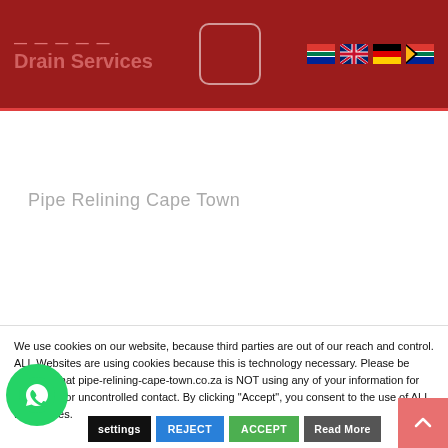Drain Services
Pipe Relining Cape Town
We use cookies on our website, because third parties are out of our reach and control. ALL Websites are using cookies because this is technology necessary. Please be ensured that pipe-relining-cape-town.co.za is NOT using any of your information for marketing or uncontrolled contact. By clicking “Accept”, you consent to the use of ALL the cookies.
settings | REJECT | ACCEPT | Read More